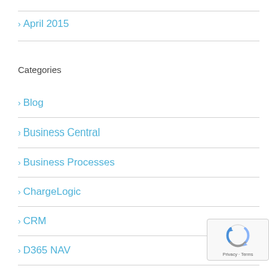April 2015
Categories
Blog
Business Central
Business Processes
ChargeLogic
CRM
D365 NAV
D365 Sales
[Figure (logo): Google reCAPTCHA badge with Privacy and Terms links]